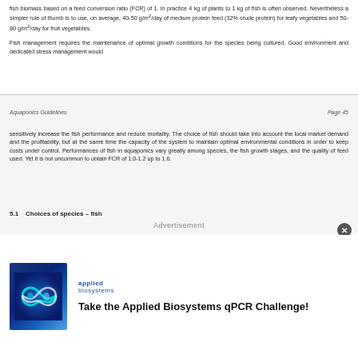fish biomass based on a feed conversion ratio (FCR) of 1. In practice 4 kg of plants to 1 kg of fish is often observed. Nevertheless a simpler rule of thumb is to use, on average, 40-50 g/m²/day of medium protein feed (32% crude protein) for leafy vegetables and 50-80 g/m²/day for fruit vegetables.
Fish management requires the maintenance of optimal growth conditions for the species being cultured. Good environment and dedicated stress management would
Aquaponics Guidelines                                                                              Page 45
sensitively increase the fish performance and reduce mortality. The choice of fish should take into account the local market demand and the profitability, but at the same time the capacity of the system to maintain optimal environmental conditions in order to keep costs under control. Performances of fish in aquaponics vary greatly among species, the fish growth stages, and the quality of feed used. Yet it is not uncommon to obtain FCR of 1.0-1.2 up to 1.6.
5.1    Choices of species – fish
[Figure (illustration): Advertisement for Applied Biosystems qPCR Challenge. Shows a blue gradient background logo with an infinity/loop symbol in teal and white, alongside the Applied Biosystems brand name and the text 'Take the Applied Biosystems qPCR Challenge!']